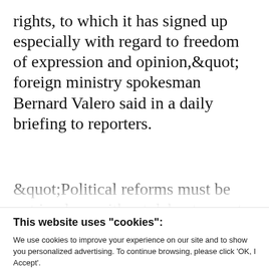rights, to which it has signed up especially with regard to freedom of expression and opinion,&quot; foreign ministry spokesman Bernard Valero said in a daily briefing to reporters.
&quot;Political reforms must be put in place without delay to meet the
This website uses "cookies":
We use cookies to improve your experience on our site and to show you personalized advertising. To continue browsing, please click 'OK, I Accept'.
For more information, please read our Privacy Policy
Ok, I Accept